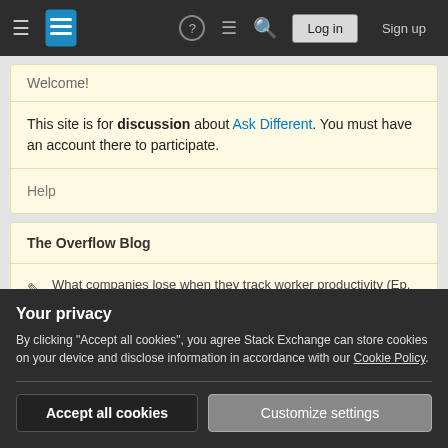Stack Exchange navigation bar with hamburger menu, logo, help icon, chat icon, search icon, Log in button, Sign up button
Welcome!
This site is for discussion about Ask Different. You must have an account there to participate.
Help
The Overflow Blog
What companies lose when they track worker productivity (Ep. 478)
Your privacy
By clicking "Accept all cookies", you agree Stack Exchange can store cookies on your device and disclose information in accordance with our Cookie Policy.
Accept all cookies
Customize settings
Hotness